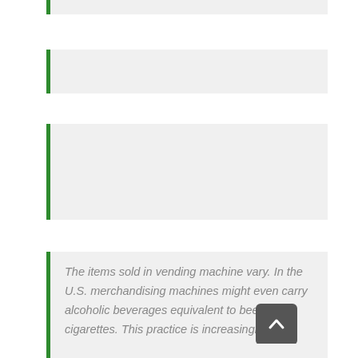The items sold in vending machine vary. In the U.S. merchandising machines might even carry alcoholic beverages equivalent to beer and cigarettes. This practice is increasingly rare though, as a result of concerns about underage buyers. I